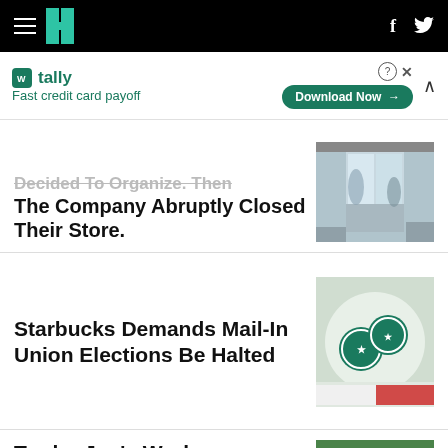HuffPost navigation bar with hamburger menu, logo, Facebook and Twitter icons
[Figure (infographic): Tally advertisement banner: Fast credit card payoff, Download Now button]
The Company Abruptly Closed Their Store.
[Figure (photo): People walking through store entrance doors, one person wearing mask and carrying bags]
Starbucks Demands Mail-In Union Elections Be Halted
[Figure (photo): Starbucks Workers United pins/buttons on a document]
Trader Joe's Workers Unionize A Second Store
[Figure (photo): Trader Joe's store interior with green signage]